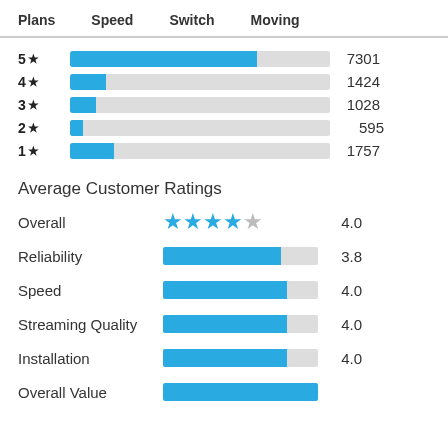Plans  Speed  Switch  Moving
[Figure (bar-chart): Star rating distribution]
Average Customer Ratings
| Category | Rating | Score |
| --- | --- | --- |
| Overall | ★★★★☆ | 4.0 |
| Reliability |  | 3.8 |
| Speed |  | 4.0 |
| Streaming Quality |  | 4.0 |
| Installation |  | 4.0 |
| Overall Value |  |  |